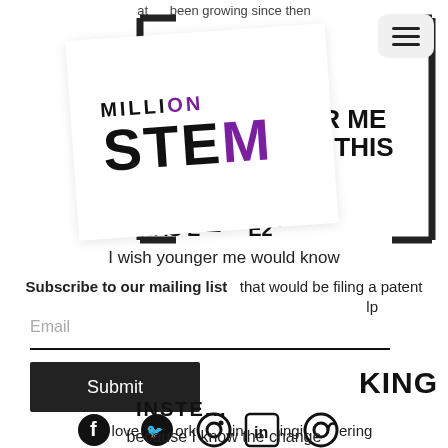[Figure (logo): Million STEM logo with bracket frame, white rotated card with MILLION STEM text where M in STEM is purple]
at ... been growing since then
Cultur... id students.
OK AT & OUNGER ME KNOWN THIS WAS E... E2"
I wish younger me would know
Subscribe to our mailing list
that would be filing a patent
lp
Email
Submit
KING
INSTE...
[Figure (infographic): Social media icons row: Facebook, Twitter, Instagram, LinkedIn, email/at icon]
love   ork   in   ingi   ering
because I know the change